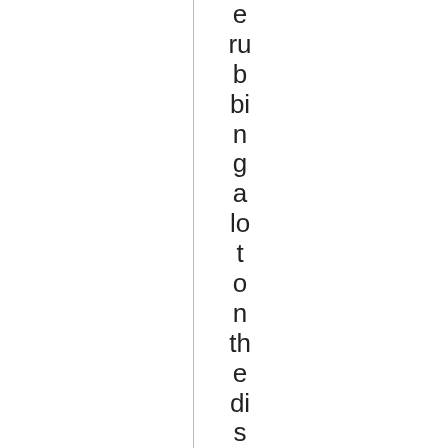erubbing a lot on the disc. Sol stopped, whin